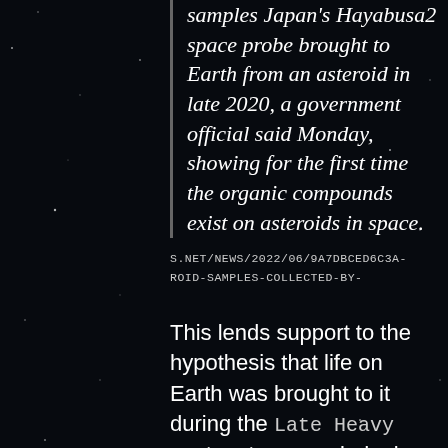samples Japan's Hayabusa2 space probe brought to Earth from an asteroid in late 2020, a government official said Monday, showing for the first time the organic compounds exist on asteroids in space.
S.NET/NEWS/2022/06/9A7DBCED6C3A-ROID-SAMPLES-COLLECTED-BY-
This lends support to the hypothesis that life on Earth was brought to it during the Late Heavy Bombardment period – in which meteors brought not just water but the building blocks of life…